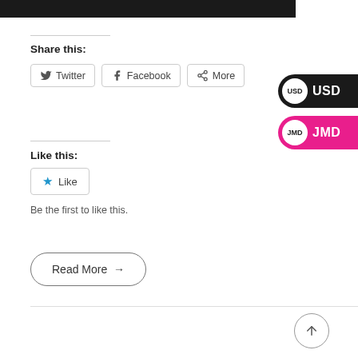[Figure (screenshot): Top dark image bar cropped at top of page]
Share this:
Twitter  Facebook  More
Like this:
Like
Be the first to like this.
Read More →
[Figure (infographic): USD currency badge - black pill shape with USD label and white circle]
[Figure (infographic): JMD currency badge - pink pill shape with JMD label and white circle]